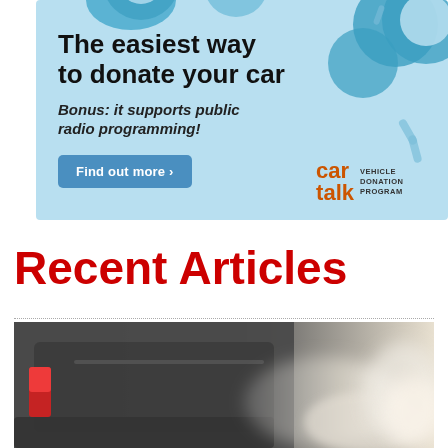[Figure (infographic): Car Talk Vehicle Donation Program advertisement banner on light blue background with car-related decorative icons (tires, screws). Headline: 'The easiest way to donate your car'. Subline: 'Bonus: it supports public radio programming!'. Blue button: 'Find out more >'. Car Talk logo and 'VEHICLE DONATION PROGRAM' text bottom right.]
Recent Articles
[Figure (photo): Close-up photo of the rear of a car with a red taillight visible and exhaust smoke/steam billowing out, blurred background suggesting motion.]